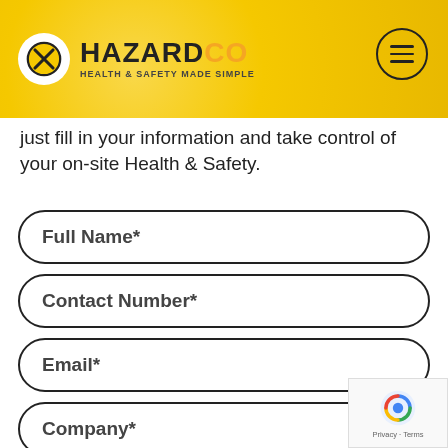[Figure (logo): HazardCo logo with circular X icon and text 'HAZARDCO HEALTH & SAFETY MADE SIMPLE' on yellow header background with hamburger menu icon]
just fill in your information and take control of your on-site Health & Safety.
Full Name*
Contact Number*
Email*
Company*
Select State*